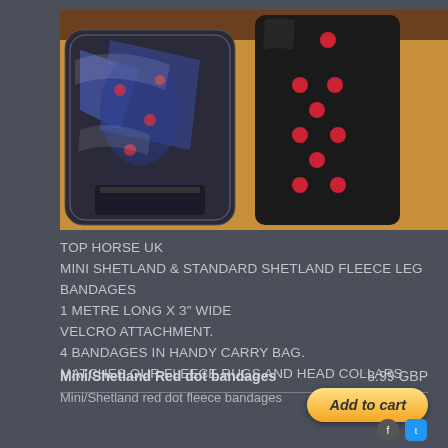[Figure (photo): Product photo showing a black polka dot fleece leg bandage and a packaged set in a clear carry bag, placed on a wooden surface.]
TOP HORSE UK
MINI SHETLAND & STANDARD SHETLAND FLEECE LEG BANDAGES
1 METRE LONG X 3" WIDE
VELCRO ATTACHMENT.
4 BANDAGES IN HANDY CARRY BAG.
MATCHES OUR FLEECE RUGS AND HEAD COLLARS
Mini/Shetland Red dot bandages    8.99 GBP
Mini/Shetland red dot fleece bandages